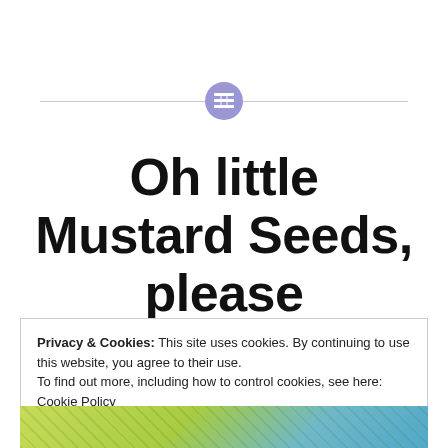[Figure (other): Horizontal divider line with a purple circular icon containing a grid/table symbol in the center]
Oh little Mustard Seeds, please germinate!
Privacy & Cookies: This site uses cookies. By continuing to use this website, you agree to their use.
To find out more, including how to control cookies, see here: Cookie Policy
Close and accept
[Figure (photo): Bottom strip showing a partial view of a yellow-green and teal patterned image]